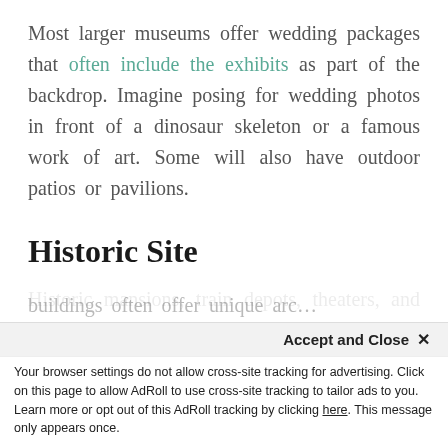Most larger museums offer wedding packages that often include the exhibits as part of the backdrop. Imagine posing for wedding photos in front of a dinosaur skeleton or a famous work of art. Some will also have outdoor patios or pavilions.
Historic Site
Historic mansions, train depots, theaters, and other buildings make beautiful and romantic venues for weddings. These buildings often offer unique arc...
Accept and Close ×
Your browser settings do not allow cross-site tracking for advertising. Click on this page to allow AdRoll to use cross-site tracking to tailor ads to you. Learn more or opt out of this AdRoll tracking by clicking here. This message only appears once.